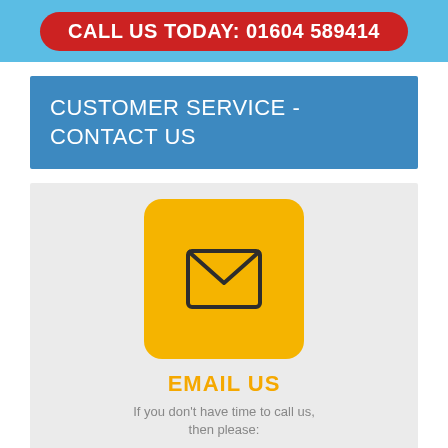CALL US TODAY: 01604 589414
CUSTOMER SERVICE - CONTACT US
[Figure (illustration): Yellow rounded square icon containing an envelope/email symbol in dark outline]
EMAIL US
If you don't have time to call us, then please:
Contact us via the online form on the right.
Or email us direct on: